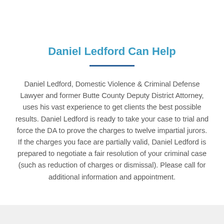Daniel Ledford Can Help
Daniel Ledford, Domestic Violence & Criminal Defense Lawyer and former Butte County Deputy District Attorney, uses his vast experience to get clients the best possible results. Daniel Ledford is ready to take your case to trial and force the DA to prove the charges to twelve impartial jurors. If the charges you face are partially valid, Daniel Ledford is prepared to negotiate a fair resolution of your criminal case (such as reduction of charges or dismissal). Please call for additional information and appointment.